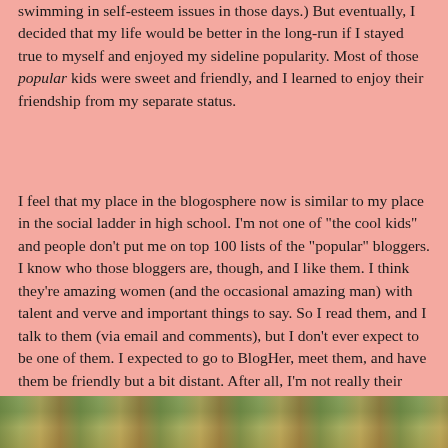swimming in self-esteem issues in those days.) But eventually, I decided that my life would be better in the long-run if I stayed true to myself and enjoyed my sideline popularity. Most of those popular kids were sweet and friendly, and I learned to enjoy their friendship from my separate status.
I feel that my place in the blogosphere now is similar to my place in the social ladder in high school. I'm not one of "the cool kids" and people don't put me on top 100 lists of the "popular" bloggers. I know who those bloggers are, though, and I like them. I think they're amazing women (and the occasional amazing man) with talent and verve and important things to say. So I read them, and I talk to them (via email and comments), but I don't ever expect to be one of them. I expected to go to BlogHer, meet them, and have them be friendly but a bit distant. After all, I'm not really their friend. I'm not really one of them.
Boy, howdy, was I stupid.
[Figure (photo): Bottom strip of a photograph showing outdoor greenery and warm tones, partially visible at the bottom of the page]